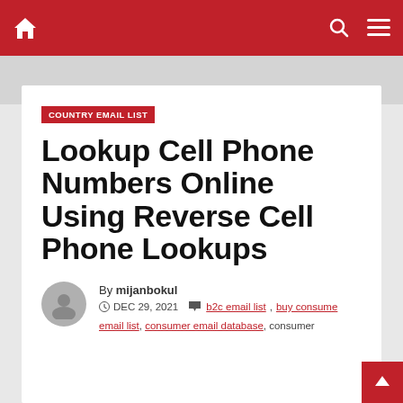Navigation bar with home icon, search icon, and menu icon
[Figure (other): Gray banner placeholder below navigation bar]
COUNTRY EMAIL LIST
Lookup Cell Phone Numbers Online Using Reverse Cell Phone Lookups
By mijanbokul
DEC 29, 2021  b2c email list, buy consumer email list, consumer email database, consumer
email list, consumer email database, consumer